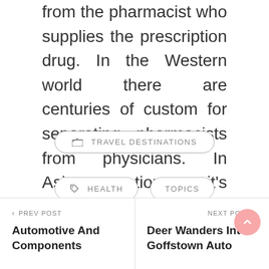from the pharmacist who supplies the prescription drug. In the Western world there are centuries of custom for separating pharmacists from physicians. In Asian nations, it's conventional for physicians to additionally present medication.
TRAVEL DESTINATIONS
HEALTH
TOPICS
PREV POST
Automotive And Components
NEXT POST
Deer Wanders Into Goffstown Auto